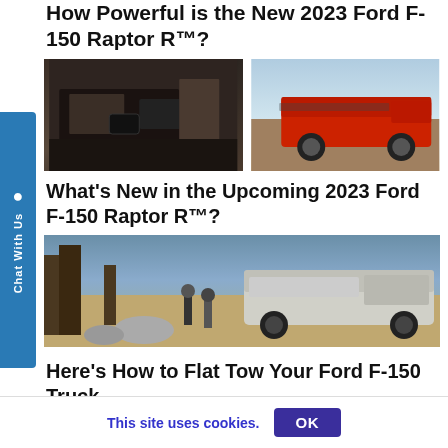How Powerful is the New 2023 Ford F-150 Raptor R™?
[Figure (photo): Two-photo grid: left shows dark interior cabin of Ford F-150 Raptor R; right shows red Ford F-150 truck towing outdoors.]
What's New in the Upcoming 2023 Ford F-150 Raptor R™?
[Figure (photo): White Ford F-150 Lightning truck parked on a rocky hillside with trees, two people with mountain bikes nearby.]
Here's How to Flat Tow Your Ford F-150 Truck
This site uses cookies.